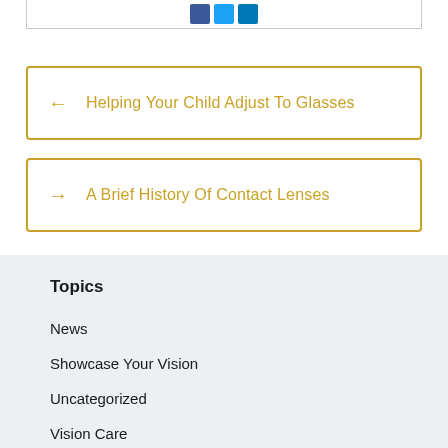[Figure (other): Social media share buttons (Facebook, Twitter, LinkedIn) at top of card]
← Helping Your Child Adjust To Glasses
→ A Brief History Of Contact Lenses
Topics
News
Showcase Your Vision
Uncategorized
Vision Care